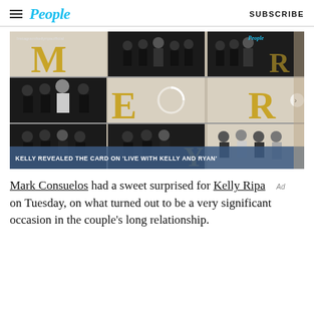People | SUBSCRIBE
[Figure (photo): Instagram photo grid showing Kelly Ripa's family Christmas card with gold letters spelling MERRY, featuring family members in black formal wear posing with gold letter tiles. Caption bar reads: KELLY REVEALED THE CARD ON 'LIVE WITH KELLY AND RYAN'. Instagram credit: Instagram/kellyripaofficial]
Mark Consuelos had a sweet surprised for Kelly Ripa on Tuesday, on what turned out to be a very significant occasion in the couple's long relationship.